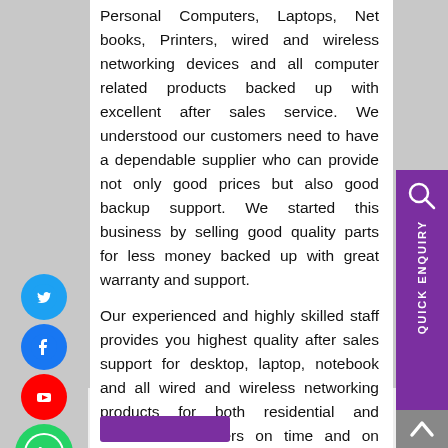Personal Computers, Laptops, Net books, Printers, wired and wireless networking devices and all computer related products backed up with excellent after sales service. We understood our customers need to have a dependable supplier who can provide not only good prices but also good backup support. We started this business by selling good quality parts for less money backed up with great warranty and support.
Our experienced and highly skilled staff provides you highest quality after sales support for desktop, laptop, notebook and all wired and wireless networking products for both residential and business customers on time and on budget.
[Figure (illustration): Social media icons on left side: Twitter (blue bird), Facebook (blue 'f'), YouTube (red play button), WhatsApp (green phone icon)]
[Figure (illustration): Purple vertical sidebar on right with search/magnify icon and rotated text reading 'QUICK ENQUIRY']
[Figure (illustration): Gray scroll-to-top button with upward chevron arrow]
[Figure (illustration): Purple button at bottom of page]